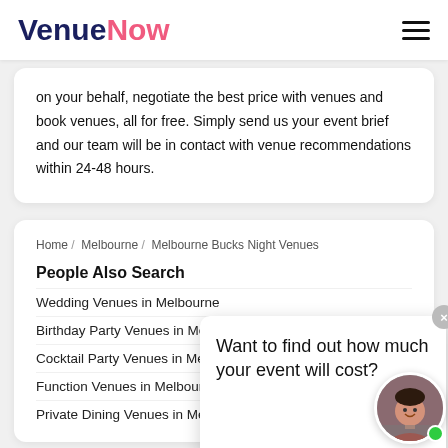VenueNow (logo) with hamburger menu
on your behalf, negotiate the best price with venues and book venues, all for free. Simply send us your event brief and our team will be in contact with venue recommendations within 24-48 hours.
Home / Melbourne / Melbourne Bucks Night Venues
People Also Search
Wedding Venues in Melbourne
Birthday Party Venues in Melbourne
Cocktail Party Venues in Melbourne
Function Venues in Melbourne
Private Dining Venues in Melbourne
Want to find out how much your event will cost?